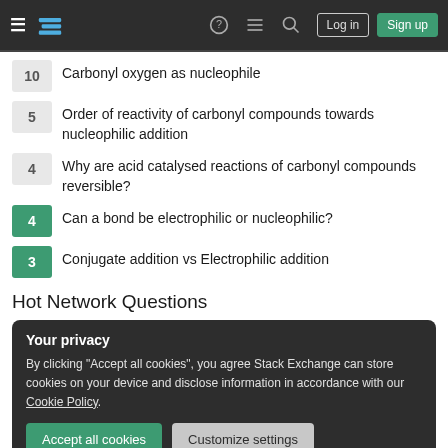Stack Exchange navigation header with Log in and Sign up buttons
10  Carbonyl oxygen as nucleophile
5  Order of reactivity of carbonyl compounds towards nucleophilic addition
4  Why are acid catalysed reactions of carbonyl compounds reversible?
4  Can a bond be electrophilic or nucleophilic?
3  Conjugate addition vs Electrophilic addition
Hot Network Questions
Your privacy
By clicking "Accept all cookies", you agree Stack Exchange can store cookies on your device and disclose information in accordance with our Cookie Policy.
Accept all cookies  Customize settings
Believing that Christianity is "probably" true vs. being fully convinced